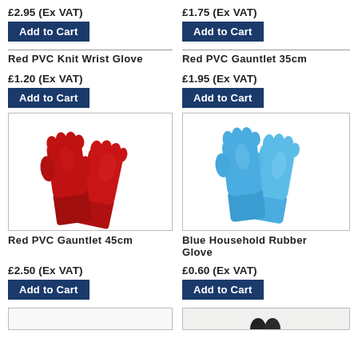£2.95 (Ex VAT)
Add to Cart
£1.75 (Ex VAT)
Add to Cart
Red PVC Knit Wrist Glove
Red PVC Gauntlet 35cm
£1.20 (Ex VAT)
Add to Cart
£1.95 (Ex VAT)
Add to Cart
[Figure (photo): Red PVC Gauntlet 45cm gloves, long red rubber gloves shown as a pair]
[Figure (photo): Blue Household Rubber Glove, shown as a pair of blue rubber gloves]
Red PVC Gauntlet 45cm
Blue Household Rubber Glove
£2.50 (Ex VAT)
Add to Cart
£0.60 (Ex VAT)
Add to Cart